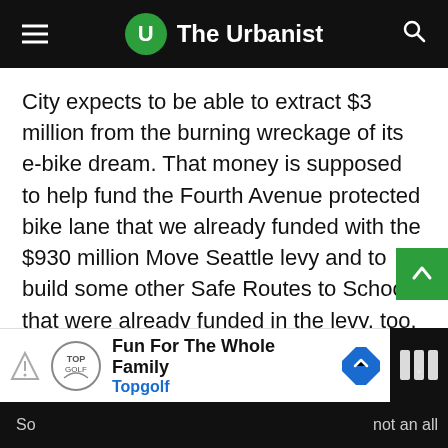The Urbanist
City expects to be able to extract $3 million from the burning wreckage of its e-bike dream. That money is supposed to help fund the Fourth Avenue protected bike lane that we already funded with the $930 million Move Seattle levy and to build some other Safe Routes to School that were already funded in the levy, too. That we are “expediting” those projects is good, but robbing Peter to pay Paul is not the kind of vision that advocates expected. Imagine if bike share had been launched with the Basic Bike Network in place? Perhaps we wouldn’t wringing our hands about hills and rain and helmets? If a sufficient bike network had been in place at launch, maybe we would have a thriving bike share right now.
So... not an all